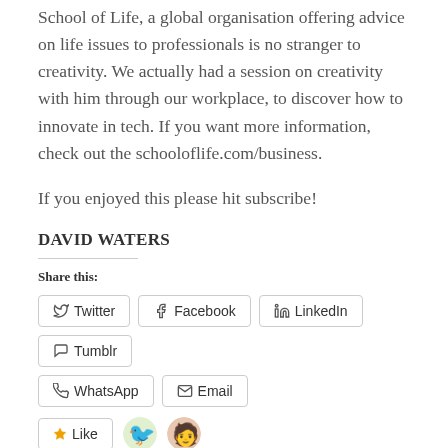School of Life, a global organisation offering advice on life issues to professionals is no stranger to creativity. We actually had a session on creativity with him through our workplace, to discover how to innovate in tech. If you want more information, check out the schooloflife.com/business.
If you enjoyed this please hit subscribe!
DAVID WATERS
Share this:
[Figure (screenshot): Social share buttons: Twitter, Facebook, LinkedIn, Tumblr, WhatsApp, Email]
[Figure (screenshot): Like button and two avatar icons partially visible at the bottom]